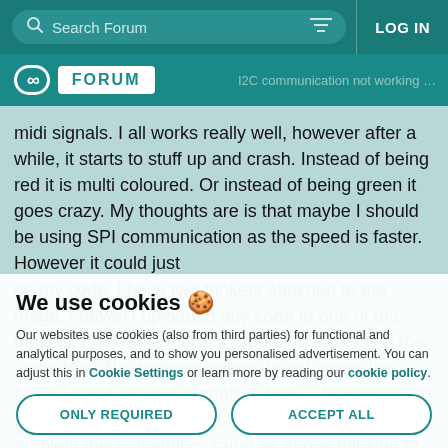Search Forum | LOG IN
[Figure (logo): Arduino Forum logo with infinity symbol and FORUM text]
midi signals. I all works really well, however after a while, it starts to stuff up and crash. Instead of being red it is multi coloured. Or instead of being green it goes crazy. My thoughts are is that maybe I should be using SPI communication as the speed is faster. However it could just be my code. I have two trinkets attached to the mega. I haven't uploaded any code to one of the trinkets, not sure if this is a problem, and it is on the same bus. The problem seems to get worse the faster I send the midi signals in from a footswitch, so I thinks its overloading the mega and having a problem this something, same as above thinking or something like that but unsure. I have tried adding delays, but doesn't seem to help. This is driving me crazy. Any help would be most appreciated.
We use cookies 🍪
Our websites use cookies (also from third parties) for functional and analytical purposes, and to show you personalised advertisement. You can adjust this in Cookie Settings or learn more by reading our cookie policy.
ONLY REQUIRED
ACCEPT ALL
Slave code(